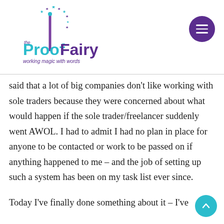[Figure (logo): The Proof Fairy logo with stylized P made of stars, teal and purple coloring, tagline 'working magic with words']
said that a lot of big companies don't like working with sole traders because they were concerned about what would happen if the sole trader/freelancer suddenly went AWOL. I had to admit I had no plan in place for anyone to be contacted or work to be passed on if anything happened to me – and the job of setting up such a system has been on my task list ever since.

Today I've finally done something about it – I've